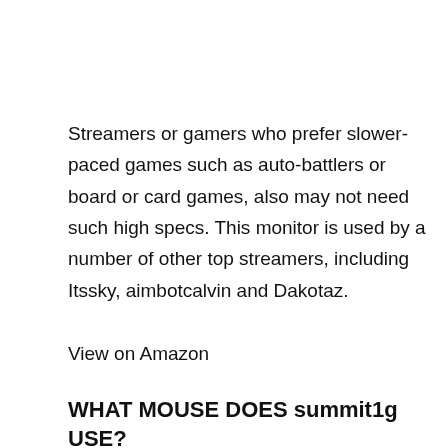Streamers or gamers who prefer slower-paced games such as auto-battlers or board or card games, also may not need such high specs. This monitor is used by a number of other top streamers, including Itssky, aimbotcalvin and Dakotaz.
View on Amazon
WHAT MOUSE DOES summit1g USE?